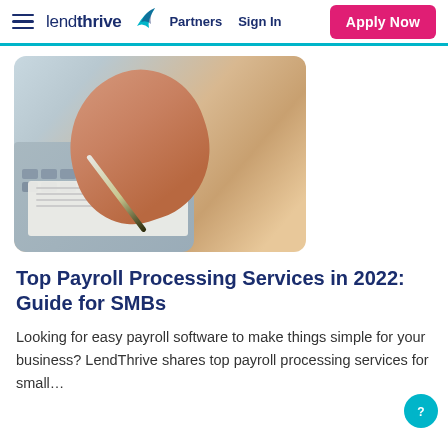lendthrive | Partners  Sign In  Apply Now
[Figure (photo): Close-up photo of a person's hand holding a pen and writing on paper, with a laptop keyboard visible in the background]
Top Payroll Processing Services in 2022: Guide for SMBs
Looking for easy payroll software to make things simple for your business? LendThrive shares top payroll processing services for small…